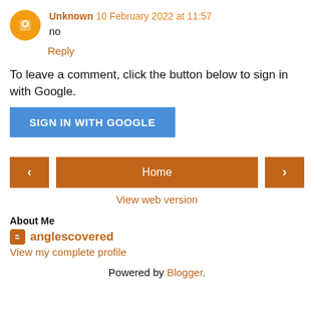Unknown 10 February 2022 at 11:57
no
Reply
To leave a comment, click the button below to sign in with Google.
SIGN IN WITH GOOGLE
[Figure (other): Navigation bar with left arrow, Home button, and right arrow]
View web version
About Me
anglescovered
View my complete profile
Powered by Blogger.